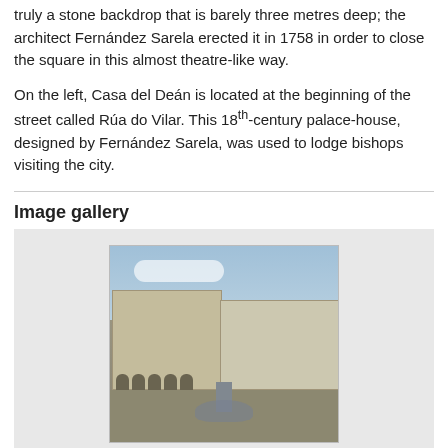truly a stone backdrop that is barely three metres deep; the architect Fernández Sarela erected it in 1758 in order to close the square in this almost theatre-like way.
On the left, Casa del Deán is located at the beginning of the street called Rúa do Vilar. This 18th-century palace-house, designed by Fernández Sarela, was used to lodge bishops visiting the city.
Image gallery
[Figure (photo): Photo of Praterías Square showing historic stone buildings with arched arcade, fountain in the foreground, and blue sky with clouds.]
Praterías Square
More information